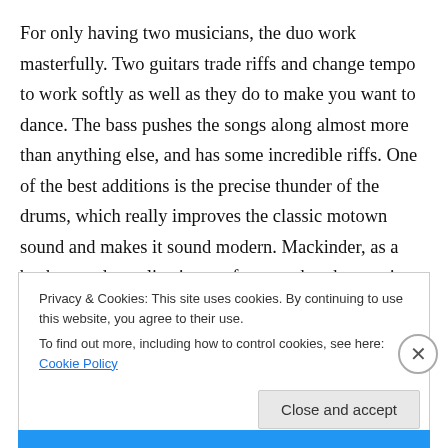For only having two musicians, the duo work masterfully. Two guitars trade riffs and change tempo to work softly as well as they do to make you want to dance. The bass pushes the songs along almost more than anything else, and has some incredible riffs. One of the best additions is the precise thunder of the drums, which really improves the classic motown sound and makes it sound modern. Mackinder, as a background vocalist, is a perfect match to harmonize with Ali.
Privacy & Cookies: This site uses cookies. By continuing to use this website, you agree to their use.
To find out more, including how to control cookies, see here: Cookie Policy